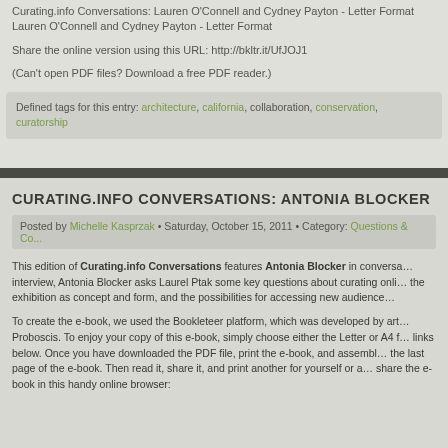Curating.info Conversations: Lauren O'Connell and Cydney Payton - Letter Format
Lauren O'Connell and Cydney Payton - Letter Format
Share the online version using this URL: http://bkltr.it/UfJOJ1
(Can't open PDF files? Download a free PDF reader.)
Defined tags for this entry: architecture, california, collaboration, conservation, curatorship
CURATING.INFO CONVERSATIONS: ANTONIA BLOCKER
Posted by Michelle Kasprzak • Saturday, October 15, 2011 • Category: Questions & Co...
This edition of Curating.info Conversations features Antonia Blocker in conversation... interview, Antonia Blocker asks Laurel Ptak some key questions about curating online... the exhibition as concept and form, and the possibilities for accessing new audiences...
To create the e-book, we used the Bookleteer platform, which was developed by art... Proboscis. To enjoy your copy of this e-book, simply choose either the Letter or A4 f... links below. Once you have downloaded the PDF file, print the e-book, and assembl... the last page of the e-book. Then read it, share it, and print another for yourself or a... share the e-book in this handy online browser: